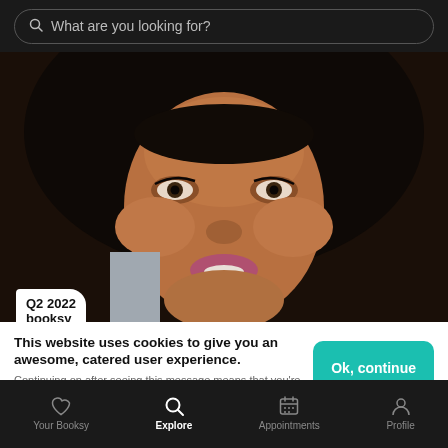What are you looking for?
[Figure (photo): Close-up portrait of a Black woman with voluminous curly hair and dramatic eye makeup, looking directly at the camera. A white badge overlay in the lower-left reads 'Q2 2022 booksy awards'.]
This website uses cookies to give you an awesome, catered user experience. Continuing on after seeing this message means that you're cool with that.
Ok, continue
Your Booksy  Explore  Appointments  Profile